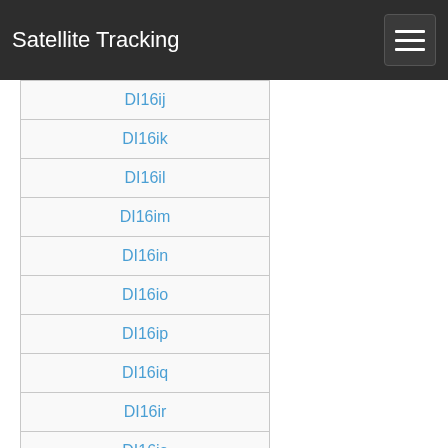Satellite Tracking
DI16ij
DI16ik
DI16il
DI16im
DI16in
DI16io
DI16ip
DI16iq
DI16ir
DI16is
DI16it
DI16iu
DI16iv
DI16iw
DI16ix
DI16ja
DI16jb
DI16jc